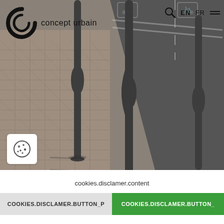[Figure (photo): Urban street scene showing dark grey metal bike rack posts/bollards on a herringbone brick pavement next to an asphalt road with white bicycle lane markings. The bollards are tall and slender with an oval loop at mid-height.]
[Figure (logo): Concept Urbain logo: a stylized letter C made of concentric arcs in black, followed by the text 'concept urbain' in lowercase]
EN  FR
[Figure (other): Cookie icon inside a white rounded square box in bottom-left corner of the photo]
cookies.disclamer.content
COOKIES.DISCLAMER.BUTTON_P
COOKIES.DISCLAMER.BUTTON_